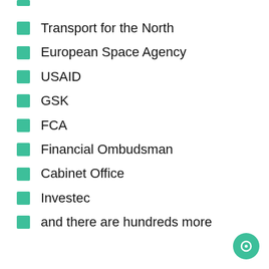Transport for the North
European Space Agency
USAID
GSK
FCA
Financial Ombudsman
Cabinet Office
Investec
and there are hundreds more